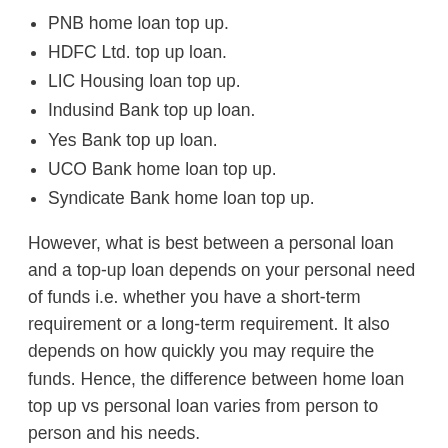PNB home loan top up.
HDFC Ltd. top up loan.
LIC Housing loan top up.
Indusind Bank top up loan.
Yes Bank top up loan.
UCO Bank home loan top up.
Syndicate Bank home loan top up.
However, what is best between a personal loan and a top-up loan depends on your personal need of funds i.e. whether you have a short-term requirement or a long-term requirement. It also depends on how quickly you may require the funds. Hence, the difference between home loan top up vs personal loan varies from person to person and his needs.
Top up your loan at the lowest housing loan